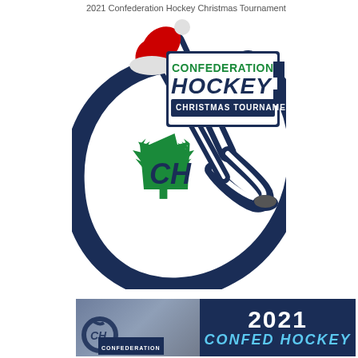2021 Confederation Hockey Christmas Tournament
[Figure (logo): Confederation Hockey Christmas Tournament logo featuring a hockey stick curved into a 'C' shape with a Santa hat, a maple leaf with 'CH' letters, and text reading CONFEDERATION HOCKEY CHRISTMAS TOURNAMENT in navy blue and green on white background]
[Figure (illustration): Bottom banner with a photo of hockey players on the left side and dark navy background on the right side with '2021' in large white text and 'CONFED HOCKEY' below in large stylized blue text]